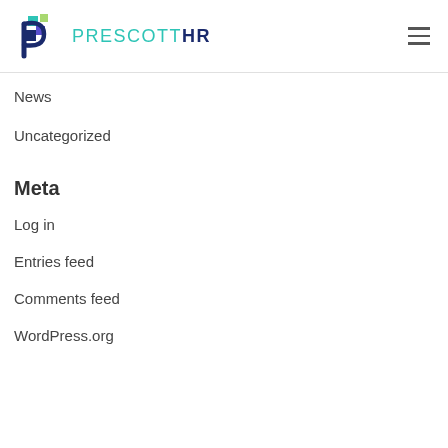PRESCOTTHR
News
Uncategorized
Meta
Log in
Entries feed
Comments feed
WordPress.org